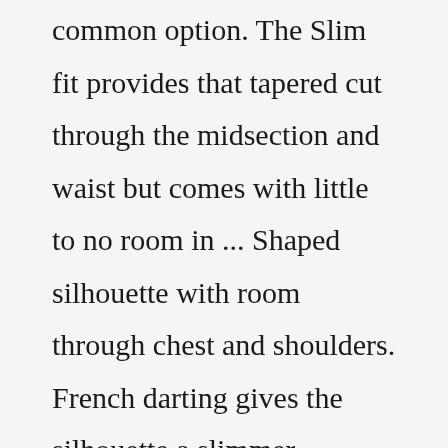common option. The Slim fit provides that tapered cut through the midsection and waist but comes with little to no room in ... Shaped silhouette with room through chest and shoulders. French darting gives the silhouette a slimmer, slightly tailored fit and appearance. Tailored Fit: Our slimmest and most shaped silhouette. Narrow through the chest and fitted at waist and hips. Darting at the front and back lends the silhouette a slim, tailored fit and appearance. Use the